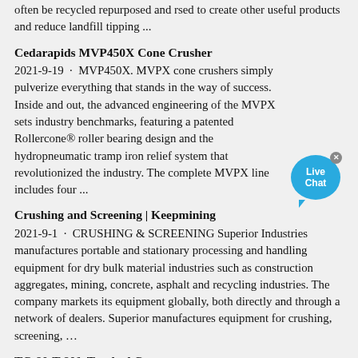often be recycled repurposed and rsed to create other useful products and reduce landfill tipping ...
Cedarapids MVP450X Cone Crusher
2021-9-19 · MVP450X. MVPX cone crushers simply pulverize everything that stands in the way of success. Inside and out, the advanced engineering of the MVPX sets industry benchmarks, featuring a patented Rollercone® roller bearing design and the hydropneumatic tramp iron relief system that revolutionized the industry. The complete MVPX line includes four ...
Crushing and Screening | Keepmining
2021-9-1 · CRUSHING & SCREENING Superior Industries manufactures portable and stationary processing and handling equipment for dry bulk material industries such as construction aggregates, mining, concrete, asphalt and recycling industries. The company markets its equipment globally, both directly and through a network of dealers. Superior manufactures equipment for crushing, screening, …
TC-80-T 80ft Tracked Conveyor
2021-8-16 · The TC-80-T features a conveyor length of 80ft (23.5m) and a capacity of up to 551 UStph (500 tph). With built in hydraulics adjustment are quick and easy with a maximum angle of 28 degrees and max height of 34"6" (10.5m). It hydraulically folds for transport and can be loaded